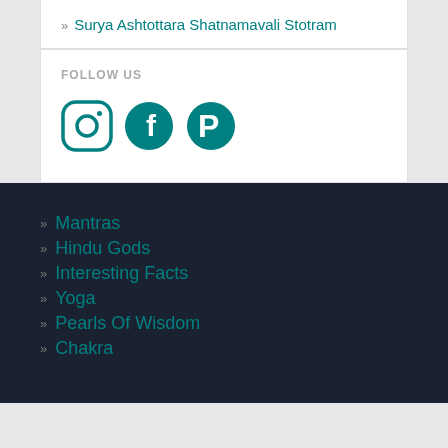» Surya Ashtottara Shatnamavali Stotram
FOLLOW US
[Figure (other): Social media icons: Instagram, Facebook, Pinterest in teal color]
» Mantras
» Hindu Gods
» Interesting Facts
» Yoga
» Pearls Of Wisdom
» Chakra